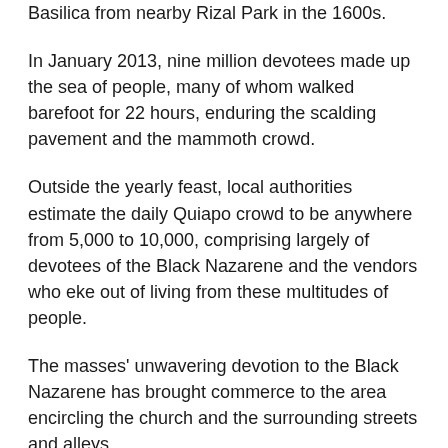Basilica from nearby Rizal Park in the 1600s.
In January 2013, nine million devotees made up the sea of people, many of whom walked barefoot for 22 hours, enduring the scalding pavement and the mammoth crowd.
Outside the yearly feast, local authorities estimate the daily Quiapo crowd to be anywhere from 5,000 to 10,000, comprising largely of devotees of the Black Nazarene and the vendors who eke out of living from these multitudes of people.
The masses' unwavering devotion to the Black Nazarene has brought commerce to the area encircling the church and the surrounding streets and alleys.
There's a plethora of finds around the Basilica, with street vendors all over the place -- selling anything and everything -- from amulets to talisman knives; love potions and rosaries; miraculous oil and prayer beads; candles for your prayers and figurines of the Black Nazarene and Mother Mary. There are snake oils, sun-dried leaves and herbal medicines for